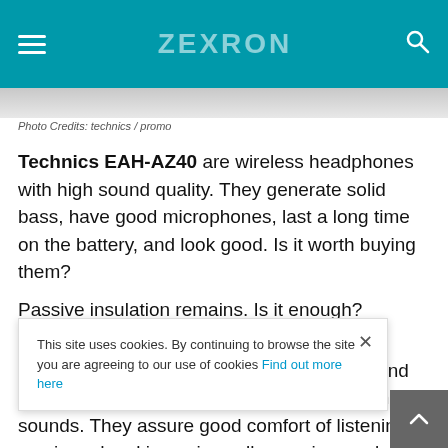ZEXRON
Photo Credits: technics / promo
Technics EAH-AZ40 are wireless headphones with high sound quality. They generate solid bass, have good microphones, last a long time on the battery, and look good. Is it worth buying them?
Passive insulation remains. Is it enough?
In our opinion, yes. The silicone gaskets included in the set provide good insulation and quite effectively reduce the volume of external sounds. They assure good comfort of listening to music and making voice calls, e.g. in a park, in a not too noisy office, at home with an open window, not too close to the street. Isolation is fine. If ANC were added to